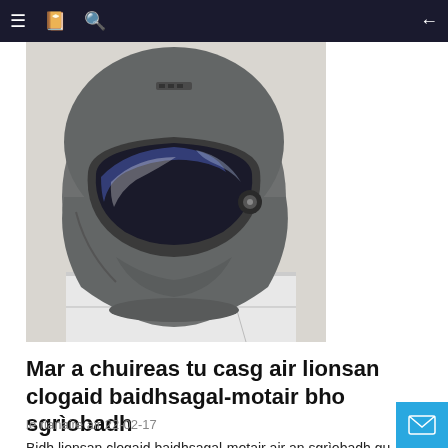Navigation bar with menu, bookmark, search icons and back arrow
[Figure (photo): A grey motorcycle helmet photographed from the side/front angle showing a mirrored visor, sitting on a white box]
Mar a chuireas tu casg air lionsan clogaid baidhsagal-motair bho sgrìobadh
le rianaire air 22-02-17
Bidh lionsan clogaid baidhsagal-motair air an sgrìobadh gu sgiobalta.Gu sònraichte às deidh càr a leantainn air latha fliuch no a bhith air a ghlacadh le càr, bidh gainmheach mìn a' tuiteam air a' chamara.Nuair a bhios mi a 'rothaireachd, chan urrainn dhomh fhaicinn gu soilleir gun a bhith ga shuathadh, agus nuair a bhios mi ga sguabadh leis an lens, tha e air a chaitheamh.A-nis bha mi air mo